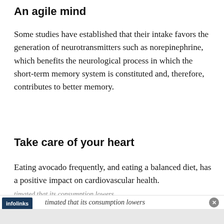An agile mind
Some studies have established that their intake favors the generation of neurotransmitters such as norepinephrine, which benefits the neurological process in which the short-term memory system is constituted and, therefore, contributes to better memory.
Take care of your heart
Eating avocado frequently, and eating a balanced diet, has a positive impact on cardiovascular health. [infolinks] timated that its consumption lowers